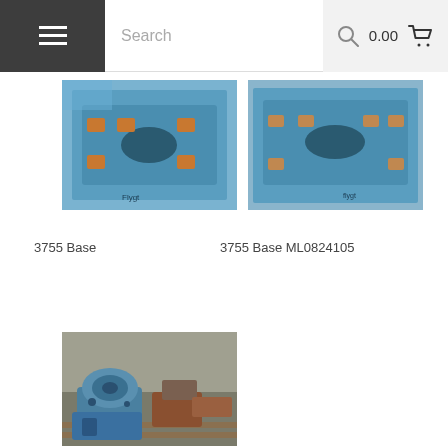Search   0.00
[Figure (photo): Blue industrial pump base (3755 Base) sitting on wooden pallet, viewed from above, painted blue with mounting holes]
3755 Base
[Figure (photo): Blue industrial pump base ML0824105 on wooden surface, viewed from above, painted blue with oval cutout and mounting holes]
3755 Base ML0824105
[Figure (photo): Blue industrial pump/motor assembly on pallet, partially disassembled with rust and various components]